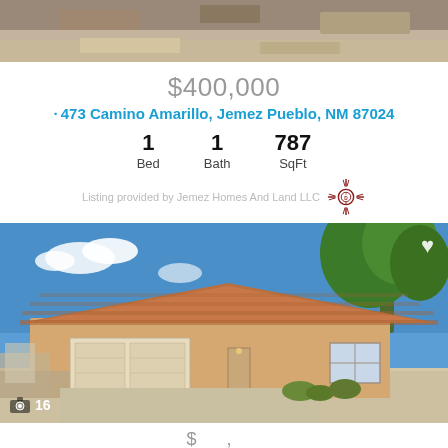[Figure (photo): Top partial photo showing desert/dirt landscape]
$400,000
473 Camino Amarillo, Jemez Pueblo, NM 87024
| 1 | 1 | 787 |
| Bed | Bath | SqFt |
Listing provided by Jemez Homes And Land LLC
[Figure (photo): Photo of a single-story house with terracotta tile roof and attached garage, blue sky and tree in background. Photo count badge showing camera icon and 16.]
$___,___